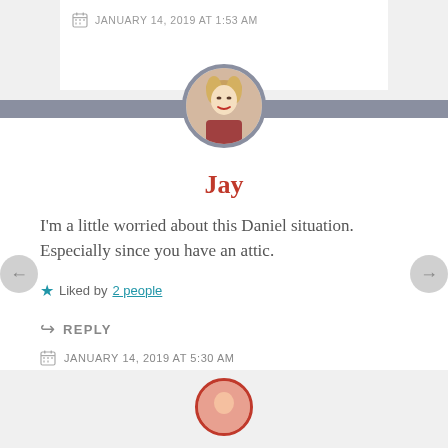JANUARY 14, 2019 AT 1:53 AM
[Figure (photo): Circular avatar photo of a woman with blonde hair and red lipstick, bordered by gray ring]
Jay
I'm a little worried about this Daniel situation. Especially since you have an attic.
Liked by 2 people
REPLY
JANUARY 14, 2019 AT 5:30 AM